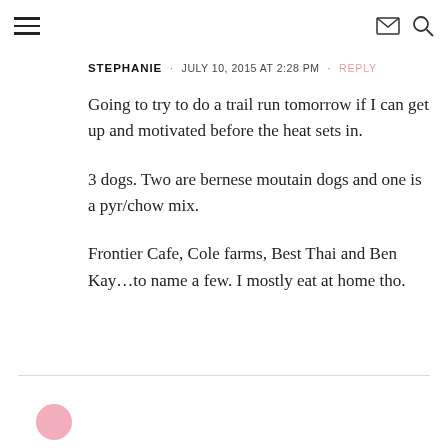≡  ✉ 🔍
STEPHANIE  •  JULY 10, 2015 AT 2:28 PM  •  REPLY
Going to try to do a trail run tomorrow if I can get up and motivated before the heat sets in.

3 dogs. Two are bernese moutain dogs and one is a pyr/chow mix.

Frontier Cafe, Cole farms, Best Thai and Ben Kay…to name a few. I mostly eat at home tho.